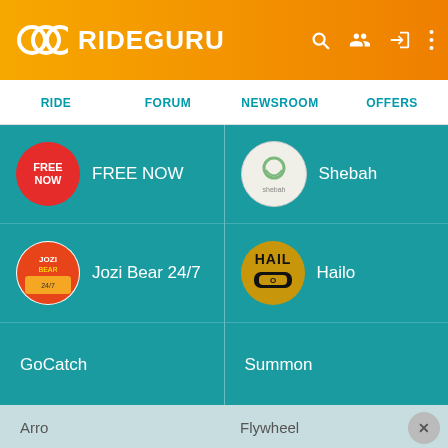RIDEGURU
RIDE
FORUM
NEWSROOM
OFFERS
FREE NOW
Shebah
Jozi Bear 24/7
Hailo
GoCatch
Summon
TappCar
RideYellow
Fare
InstaRyde
Arro
Flywheel